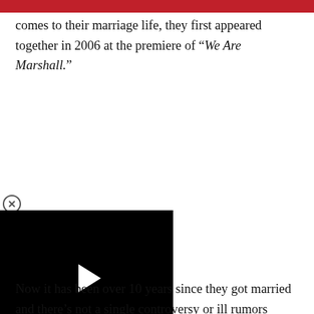comes to their marriage life, they first appeared together in 2006 at the premiere of "We Are Marshall."
[Figure (screenshot): A video player with a black background and a white play button triangle in the center, with a close (X) button in the upper left corner.]
Now it has been over 10 years since they got married and there's not a single controversy or ill rumors